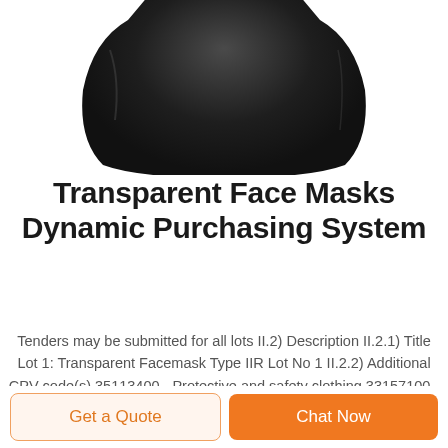[Figure (photo): Product photo of a transparent face mask (shown in dark/black color from top view), partially cropped at the top of the page.]
Transparent Face Masks Dynamic Purchasing System
Tenders may be submitted for all lots II.2) Description II.2.1) Title Lot 1: Transparent Facemask Type IIR Lot No 1 II.2.2) Additional CPV code(s) 35113400 - Protective and safety clothing 33157100 - Medical gas masks 35113400 - Protective and safety clothing II.2.3) Place of...